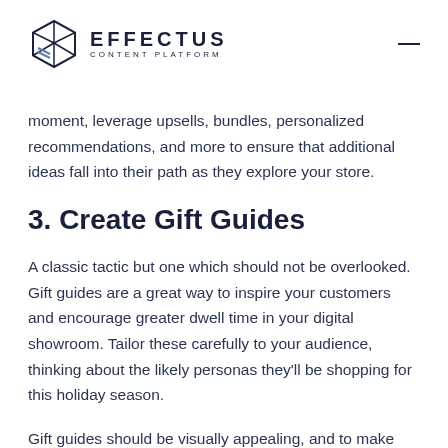EFFECTUS CONTENT PLATFORM
moment, leverage upsells, bundles, personalized recommendations, and more to ensure that additional ideas fall into their path as they explore your store.
3. Create Gift Guides
A classic tactic but one which should not be overlooked. Gift guides are a great way to inspire your customers and encourage greater dwell time in your digital showroom. Tailor these carefully to your audience, thinking about the likely personas they'll be shopping for this holiday season.
Gift guides should be visually appealing, and to make